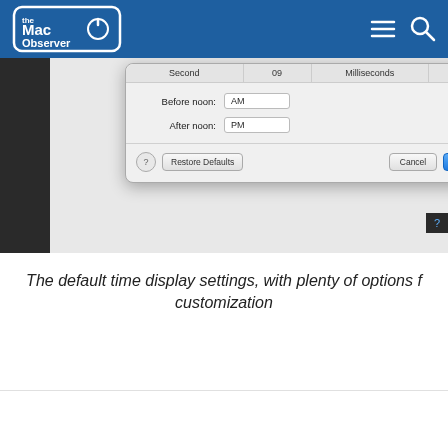The Mac Observer
[Figure (screenshot): macOS dialog box showing time display settings with fields for 'Before noon: AM' and 'After noon: PM', along with Second/09 and Milliseconds/000 columns at top. Buttons: help (?), Restore Defaults, Cancel, OK.]
The default time display settings, with plenty of options for customization